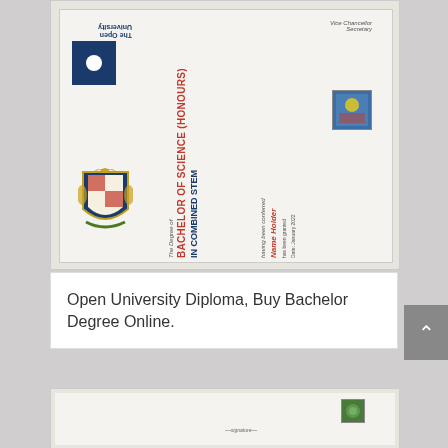[Figure (photo): Photograph of an Open University Bachelor of Science (Honours) in Combined STEM diploma certificate, shown at an angle on a wooden surface. The certificate shows the OU logo, a coat of arms, rotated text reading 'BACHELOR OF SCIENCE (HONOURS) IN COMBINED STEM', a recipient name in red, and a small photo stamp in the upper right.]
Open University Diploma, Buy Bachelor Degree Online.
[Figure (photo): Partial photograph of another diploma certificate on a wooden surface, showing the top portion with a green stamp/seal in the upper right and a signature at the bottom center.]